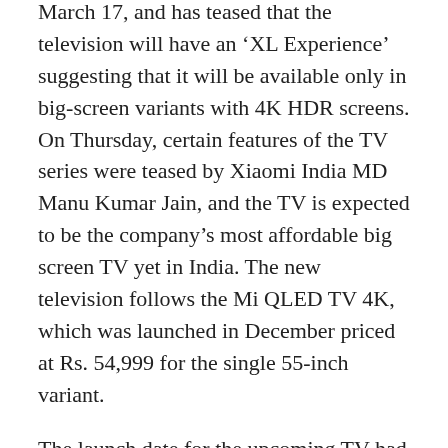March 17, and has teased that the television will have an 'XL Experience' suggesting that it will be available only in big-screen variants with 4K HDR screens. On Thursday, certain features of the TV series were teased by Xiaomi India MD Manu Kumar Jain, and the TV is expected to be the company's most affordable big screen TV yet in India. The new television follows the Mi QLED TV 4K, which was launched in December priced at Rs. 54,999 for the single 55-inch variant.
The launch date for the upcoming TV had already been announced as March 17. The new tweet from Manu Kumar Jain reveals further details, including some features of the TV. Notably, the tweet further teases an 'XL Experience', suggesting that the TV will be available in big-screen variants only; that is, the Redmi Smart TV will likely be available in screen sizes of 55 inches and higher. Furthermore, the tweet mentions